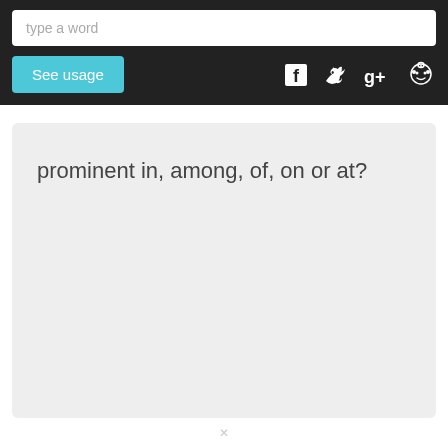[Figure (screenshot): Search input field with placeholder text 'type a word' on dark background header bar]
[Figure (screenshot): See usage button (teal/cyan) and social media icons (Facebook, Twitter, Google+, Reddit) on dark header bar]
prominent in, among, of, on or at?